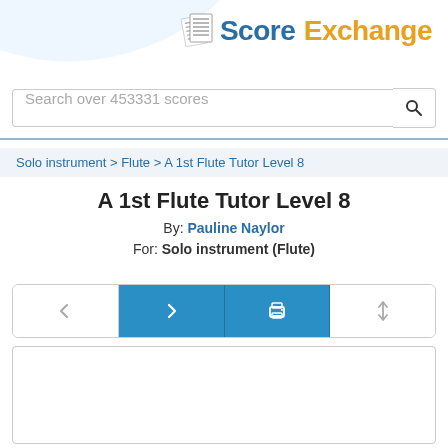Score Exchange
Search over 453331 scores
Solo instrument > Flute > A 1st Flute Tutor Level 8
A 1st Flute Tutor Level 8
By: Pauline Naylor
For: Solo instrument (Flute)
[Figure (screenshot): Navigation buttons: back arrow, forward arrow (active/blue), print icon (active/blue), sort arrows. Below is a white score preview area.]